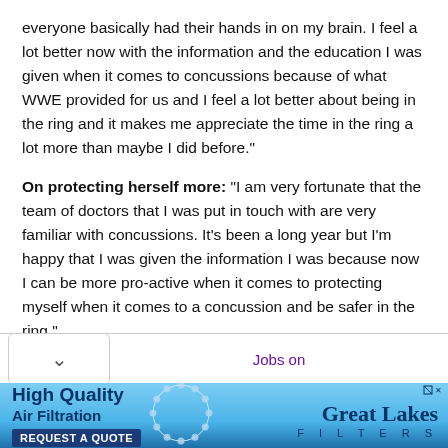everyone basically had their hands in on my brain. I feel a lot better now with the information and the education I was given when it comes to concussions because of what WWE provided for us and I feel a lot better about being in the ring and it makes me appreciate the time in the ring a lot more than maybe I did before."
On protecting herself more: “I am very fortunate that the team of doctors that I was put in touch with are very familiar with concussions. It’s been a long year but I’m happy that I was given the information I was because now I can be more pro-active when it comes to protecting myself when it comes to a concussion and be safer in the ring.”
[Figure (infographic): Advertisement banner for Great Lakes Filters - High Quality Air Filtration with circular dotted logo graphic and REQUEST A QUOTE button on blue gradient background]